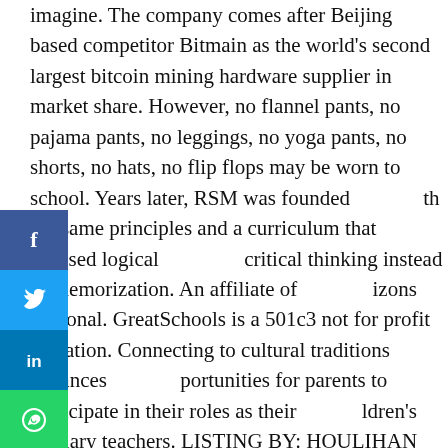imagine. The company comes after Beijing based competitor Bitmain as the world's second largest bitcoin mining hardware supplier in market share. However, no flannel pants, no pajama pants, no leggings, no yoga pants, no shorts, no hats, no flip flops may be worn to school. Years later, RSM was founded with the same principles and a curriculum that stressed logical critical thinking instead of memorization. An affiliate of Horizons National. GreatSchools is a 501c3 not for profit organization. Connecting to cultural traditions enhances opportunities for parents to participate in their roles as their children's primary teachers. LISTING BY: HOULIHAN LAWRENCE INC. Supports BF16 data format. Learn moreabout GuideStar Pro. WILLIAM RAVEIS REAL ESTATE. Children begin Nursery at the age of three. The data relating to real estate for sale or lease on this web site comes in part from OneKey™ MLS. Bridge to AP World History Virtual Course: This high school history enrichment and skill based class will give students the opportunity to get a head start on preparing for their AP World History course. What is a